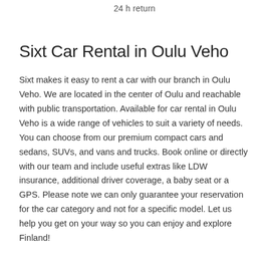24 h return
Sixt Car Rental in Oulu Veho
Sixt makes it easy to rent a car with our branch in Oulu Veho. We are located in the center of Oulu and reachable with public transportation. Available for car rental in Oulu Veho is a wide range of vehicles to suit a variety of needs. You can choose from our premium compact cars and sedans, SUVs, and vans and trucks. Book online or directly with our team and include useful extras like LDW insurance, additional driver coverage, a baby seat or a GPS. Please note we can only guarantee your reservation for the car category and not for a specific model. Let us help you get on your way so you can enjoy and explore Finland!